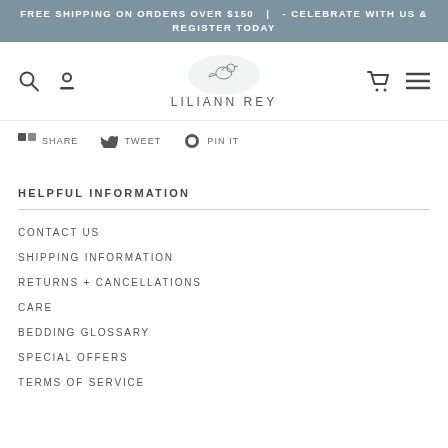FREE SHIPPING ON ORDERS OVER $150  |  - CELEBRATE WITH US & REGISTER TODAY
[Figure (logo): Liliann Rey brand logo with bird illustration and text LILIANN REY]
[Figure (infographic): Social share bar with Share, Tweet, and Pin It buttons]
HELPFUL INFORMATION
CONTACT US
SHIPPING INFORMATION
RETURNS + CANCELLATIONS
CARE
BEDDING GLOSSARY
SPECIAL OFFERS
TERMS OF SERVICE